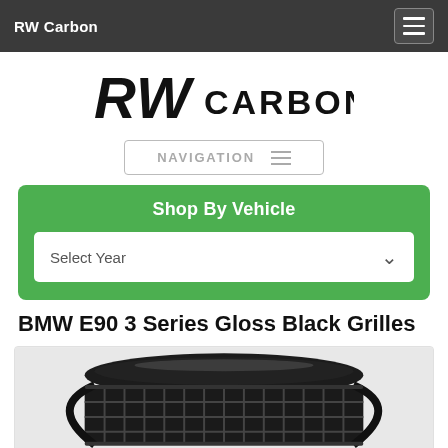RW Carbon
[Figure (logo): RW Carbon logo — stylized RW letters in bold black with CARBON text]
NAVIGATION
Shop By Vehicle
Select Year
BMW E90 3 Series Gloss Black Grilles
[Figure (photo): Photo of gloss black BMW E90 3 Series kidney grilles, showing the grille mesh and surround in black finish]